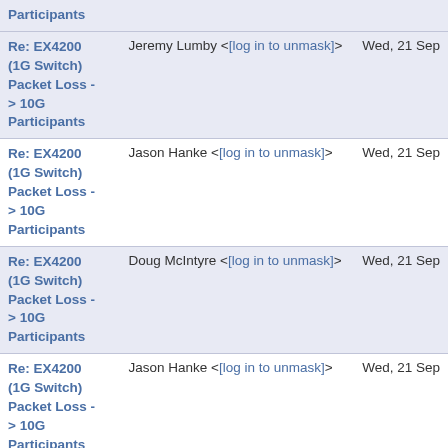| Subject | From | Date |
| --- | --- | --- |
| Participants |  |  |
| Re: EX4200 (1G Switch) Packet Loss -> 10G Participants | Jeremy Lumby <[log in to unmask]> | Wed, 21 Sep |
| Re: EX4200 (1G Switch) Packet Loss -> 10G Participants | Jason Hanke <[log in to unmask]> | Wed, 21 Sep |
| Re: EX4200 (1G Switch) Packet Loss -> 10G Participants | Doug McIntyre <[log in to unmask]> | Wed, 21 Sep |
| Re: EX4200 (1G Switch) Packet Loss -> 10G Participants | Jason Hanke <[log in to unmask]> | Wed, 21 Sep |
| Re: EX4200 (1G Switch) Packet Loss -> 10G Participants | Richard Laager <[log in to unmask]> | Wed, 21 Sep |
| Re: EX4200... |  |  |